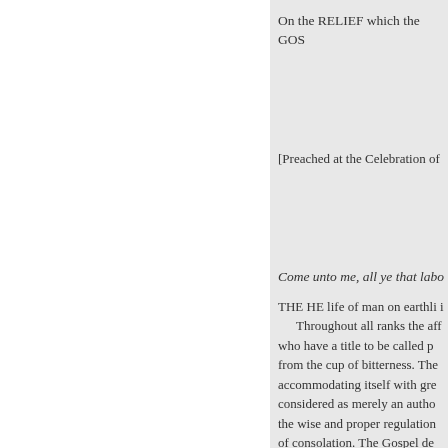On the RELIEF which the GOS
[Preached at the Celebration of
Come unto me, all ye that labo
THE HE life of man on earthli i
Throughout all ranks the aff who have a title to be called p from the cup of bitterness. The accommodating itself with gre considered as merely an autho the wise and proper regulation of consolation. The Gospel de temporal and spiritual distress
« Previous